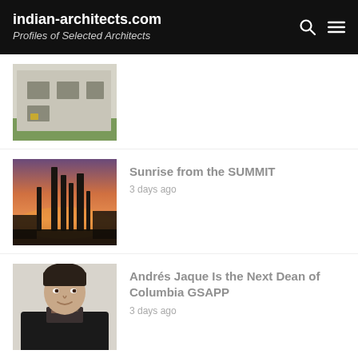indian-architects.com — Profiles of Selected Architects
[Figure (photo): Partial view of a white concrete building with open window frames, surrounded by greenery. Image is partially cropped at top.]
[Figure (photo): Sunset or sunrise cityscape showing tall skyscraper towers silhouetted against an orange and purple sky.]
Sunrise from the SUMMIT
3 days ago
[Figure (photo): Portrait photo of a man with dark hair, wearing a black sweater and patterned collar, smiling slightly.]
Andrés Jaque Is the Next Dean of Columbia GSAPP
3 days ago